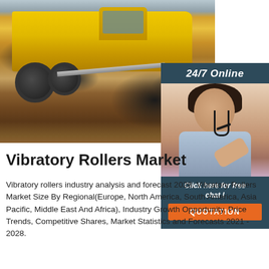[Figure (photo): Yellow construction motor grader / vibratory roller working on a dirt/gravel surface. Background shows buildings. A 24/7 online customer support overlay panel is shown on the right side with a woman wearing a headset, with 'Click here for free chat!' text and a QUOTATION button.]
Vibratory Rollers Market
Vibratory rollers industry analysis and forecast 2028, Vibratory Rollers Market Size By Regional(Europe, North America, South America, Asia Pacific, Middle East And Africa), Industry Growth Opportunity, Price Trends, Competitive Shares, Market Statistics and Forecasts 2021 - 2028.